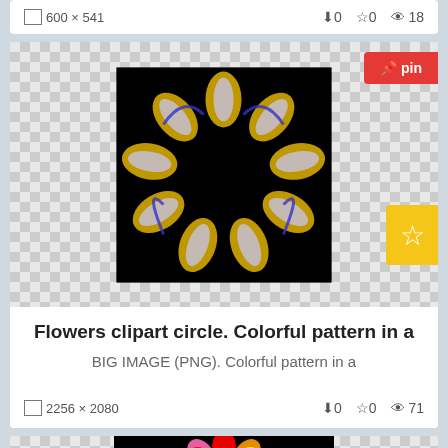600 x 541  ↓0  ☆0  👁 18
[Figure (illustration): Decorative floral circle wreath on black background with gold and blue flowers, with checkered transparency background. Has a red 'pin' button top right.]
Flowers clipart circle. Colorful pattern in a
BIG IMAGE (PNG). Colorful pattern in a
2256 x 2080  ↓0  ☆0  👁 71
[Figure (illustration): Colorful psychedelic floral circle wreath on black background with rainbow-colored flowers, on checkered transparency background. Has a red 'pin' button top right and a 'geo' badge top left.]